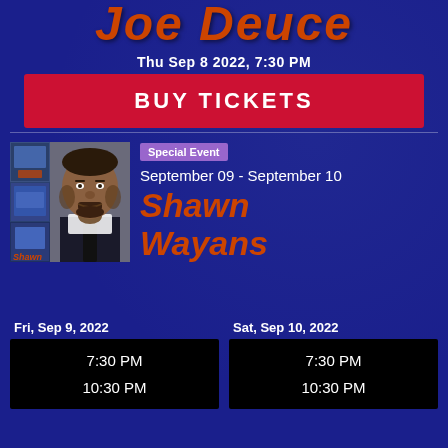Joe Deuce
Thu Sep 8 2022, 7:30 PM
BUY TICKETS
[Figure (photo): Photo collage of Shawn Wayans with headshot portrait and smaller event/show images]
Special Event
September 09 - September 10
Shawn Wayans
| Fri, Sep 9, 2022 | Sat, Sep 10, 2022 |
| 7:30 PM | 7:30 PM |
| 10:30 PM | 10:30 PM |